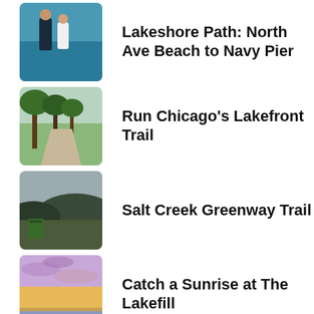[Figure (photo): Two people standing near a lakefront]
Lakeshore Path: North Ave Beach to Navy Pier
[Figure (photo): Trees along a path in a park]
Run Chicago's Lakefront Trail
[Figure (photo): Greenway trail landscape with hills and greenery]
Salt Creek Greenway Trail
[Figure (photo): Sunrise sky with clouds over water]
Catch a Sunrise at The Lakefill